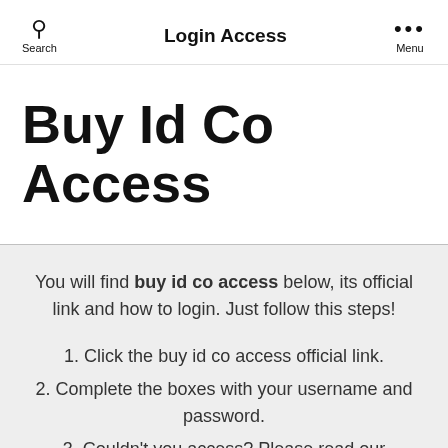Login Access
Buy Id Co Access
You will find buy id co access below, its official link and how to login. Just follow this steps!
1. Click the buy id co access official link.
2. Complete the boxes with your username and password.
3. Couldn't you access? Please read our